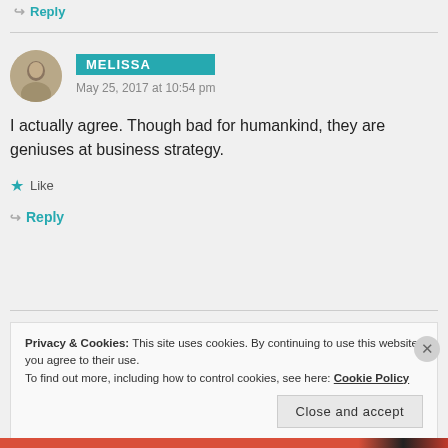↳ Reply
MELISSA
May 25, 2017 at 10:54 pm
I actually agree. Though bad for humankind, they are geniuses at business strategy.
★ Like
↳ Reply
Privacy & Cookies: This site uses cookies. By continuing to use this website, you agree to their use.
To find out more, including how to control cookies, see here: Cookie Policy
Close and accept